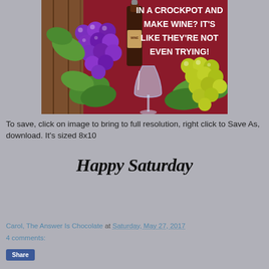[Figure (illustration): Colorful illustration of purple and green grapes with a wine bottle and wine glass on a red/maroon background with text reading 'IN A CROCKPOT AND MAKE WINE? IT'S LIKE THEY'RE NOT EVEN TRYING!']
To save, click on image to bring to full resolution, right click to Save As, download. It's sized 8x10
Happy Saturday
Carol, The Answer Is Chocolate at Saturday, May 27, 2017
4 comments: